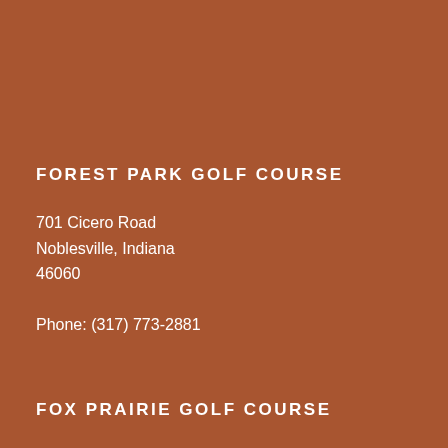FOREST PARK GOLF COURSE
701 Cicero Road
Noblesville, Indiana
46060

Phone: (317) 773-2881
FOX PRAIRIE GOLF COURSE